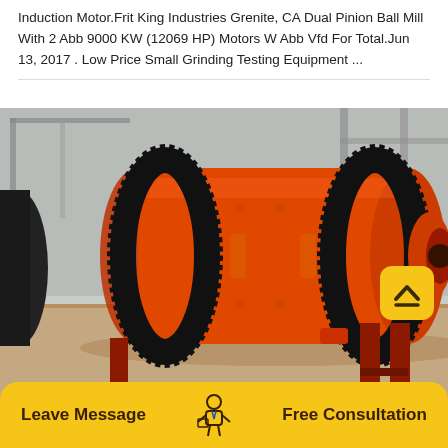Induction Motor.Frit King Industries Grenite, CA Dual Pinion Ball Mill With 2 Abb 9000 KW (12069 HP) Motors W Abb Vfd For Total.Jun 13, 2017 . Low Price Small Grinding Testing Equipment ...
[Figure (photo): Large orange industrial ball mill machine with black gear ring, photographed in an industrial warehouse setting with grey metal structure visible in background.]
Leave Message
Free Consultation